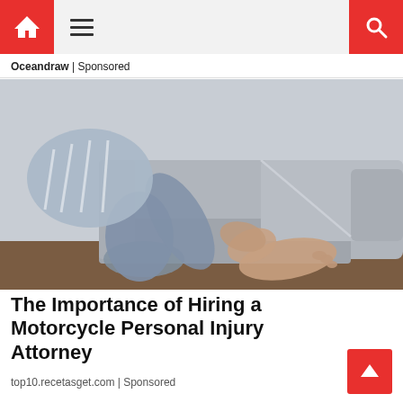Oceandraw | Sponsored
[Figure (photo): Person sitting on a gray L-shaped sofa, holding their foot and ankle with both hands, suggesting pain or injury. They are wearing light blue pants and a striped shirt.]
The Importance of Hiring a Motorcycle Personal Injury Attorney
top10.recetasget.com | Sponsored